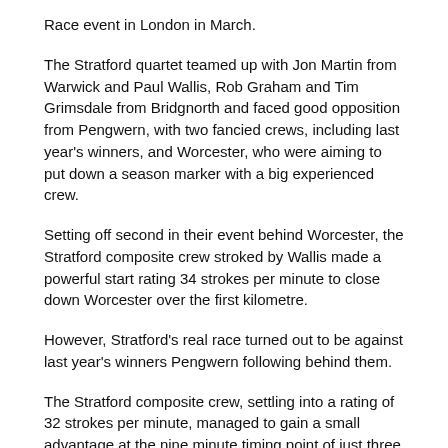Race event in London in March.
The Stratford quartet teamed up with Jon Martin from Warwick and Paul Wallis, Rob Graham and Tim Grimsdale from Bridgnorth and faced good opposition from Pengwern, with two fancied crews, including last year's winners, and Worcester, who were aiming to put down a season marker with a big experienced crew.
Setting off second in their event behind Worcester, the Stratford composite crew stroked by Wallis made a powerful start rating 34 strokes per minute to close down Worcester over the first kilometre.
However, Stratford's real race turned out to be against last year's winners Pengwern following behind them.
The Stratford composite crew, settling into a rating of 32 strokes per minute, managed to gain a small advantage at the nine minute timing point of just three seconds over Pengwern.